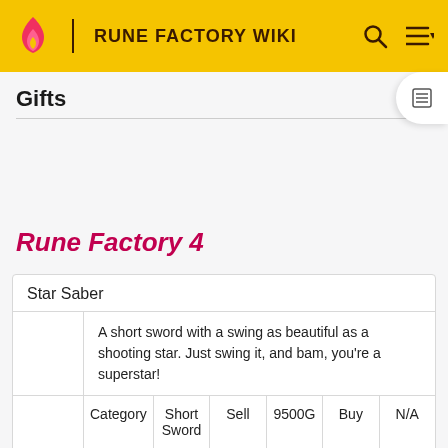RUNE FACTORY WIKI
Gifts
Rune Factory 4
| Star Saber |  |  |  |  |  |
| --- | --- | --- | --- | --- | --- |
|  | A short sword with a swing as beautiful as a shooting star. Just swing it, and bam, you're a superstar! |  |  |  |  |
|  | Category | Short Sword | Sell | 9500G | Buy | N/A |
| [Ability] [Atr] Wind ATK +5150 M.ATK +1800 |  |  |  |  |  |